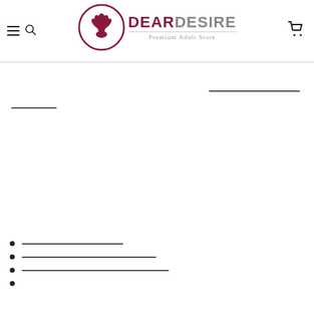[Figure (logo): Dear Desire Premium Adult Store logo with lotus flower emblem in dark red circle, text DEAR in bold dark red, DESIRE in grey, subtitle Premium Adult Store]
[redacted content lines]
[redacted link 1]
[redacted link 2]
[redacted link 3]
[redacted link 4]